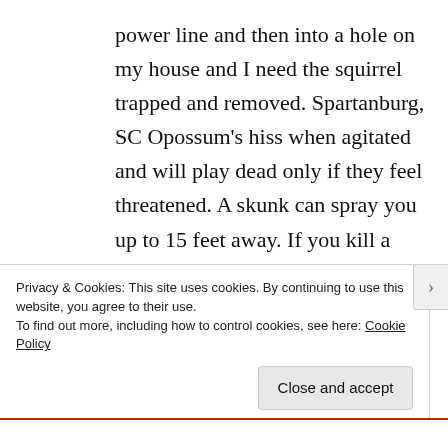power line and then into a hole on my house and I need the squirrel trapped and removed. Spartanburg, SC Opossum's hiss when agitated and will play dead only if they feel threatened. A skunk can spray you up to 15 feet away. If you kill a skunk will it spray?  Yes Skunks will spray if you kill them.
Privacy & Cookies: This site uses cookies. By continuing to use this website, you agree to their use.
To find out more, including how to control cookies, see here: Cookie Policy
Close and accept